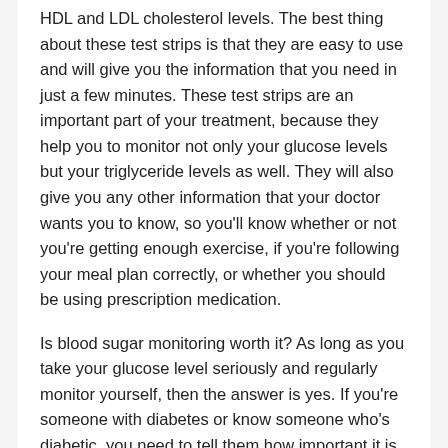HDL and LDL cholesterol levels. The best thing about these test strips is that they are easy to use and will give you the information that you need in just a few minutes. These test strips are an important part of your treatment, because they help you to monitor not only your glucose levels but your triglyceride levels as well. They will also give you any other information that your doctor wants you to know, so you'll know whether or not you're getting enough exercise, if you're following your meal plan correctly, or whether you should be using prescription medication.
Is blood sugar monitoring worth it? As long as you take your glucose level seriously and regularly monitor yourself, then the answer is yes. If you're someone with diabetes or know someone who's diabetic, you need to tell them how important it is that they get testing done and keep track of their levels at all times. Keeping track of your health is a very important part of living with diabetes, and shouldn't be taken lightly. Diabetes is not an incurable condition, but with proper